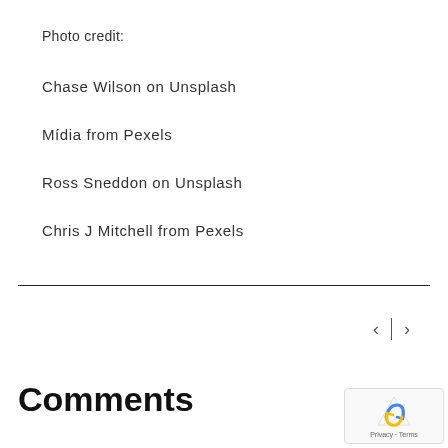Photo credit:
Chase Wilson on Unsplash
Mídia from Pexels
Ross Sneddon on Unsplash
Chris J Mitchell from Pexels
Comments